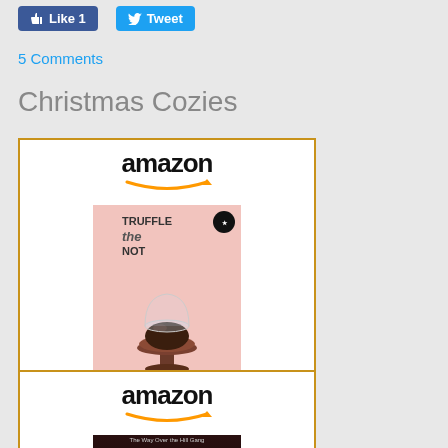[Figure (screenshot): Facebook Like button (blue) showing 'Like 1' and Twitter Tweet button (blue) showing 'Tweet']
5 Comments
Christmas Cozies
[Figure (screenshot): Amazon widget for 'Truffle Me Not: Baker by Day...' priced at $1.99 with book cover (pink background with chocolate truffle on pedestal, title TRUFFLE ME NOT by MK SCOTT) and Shop now button]
[Figure (screenshot): Second Amazon widget showing another book with a dark cover]